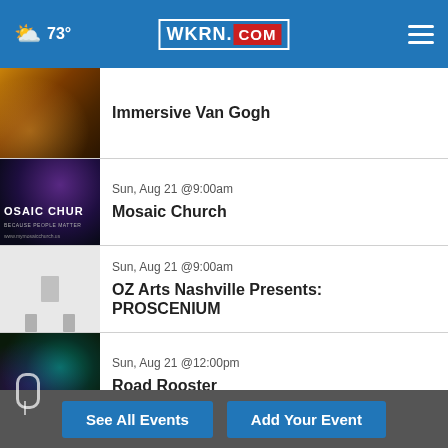73° WKRN.COM
Immersive Van Gogh
Sun, Aug 21 @9:00am
Mosaic Church
Sun, Aug 21 @9:00am
OZ Arts Nashville Presents: PROSCENIUM
Sun, Aug 21 @12:00pm
Road Rooster
Sun, Aug 21 @8:00pm
Beth Garner
See All Events   Add Your Event